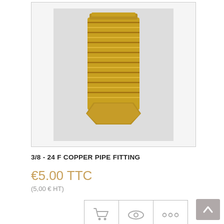[Figure (photo): A brass threaded pipe fitting (3/8-24 F copper pipe fitting) with hexagonal base, photographed on a light grey background. The fitting is cylindrical with external threads and a hex nut at the bottom.]
3/8 - 24 F COPPER PIPE FITTING
€5.00 TTC
(5,00 € HT)